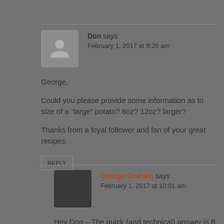Don says
February 1, 2017 at 9:20 am
George,

Could you please provide some information as to size of a “large” potato? 8oz? 12oz? larger?

Thanks from a loyal follower and fan of your great recipes.
REPLY
George Graham says
February 1, 2017 at 10:01 am
Hey Don – The quick (and technical) answer is 8 to 12